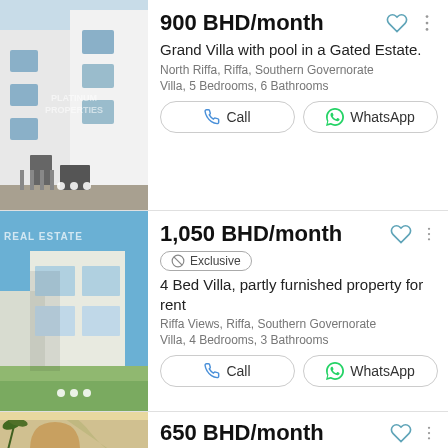[Figure (photo): White villa building exterior photo with watermark 'Platinum Properties']
900 BHD/month
Grand Villa with pool in a Gated Estate.
North Riffa, Riffa, Southern Governorate
Villa, 5 Bedrooms, 6 Bathrooms
[Figure (photo): Modern white villa with blue sky, text overlay 'REAL ESTATE']
1,050 BHD/month
Exclusive
4 Bed Villa, partly furnished property for rent
Riffa Views, Riffa, Southern Governorate
Villa, 4 Bedrooms, 3 Bathrooms
[Figure (photo): Partial view of a villa with palm trees]
650 BHD/month
Absolutely Stunning 4BR Villa with 5 Parks